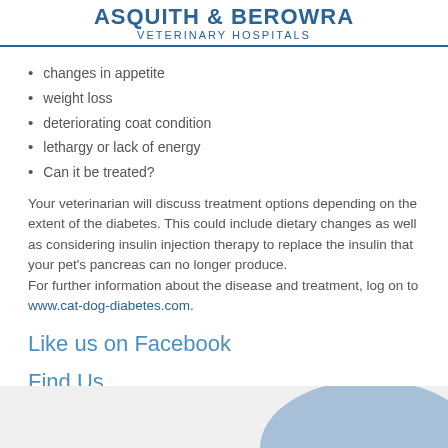ASQUITH & BEROWRA VETERINARY HOSPITALS
changes in appetite
weight loss
deteriorating coat condition
lethargy or lack of energy
Can it be treated?
Your veterinarian will discuss treatment options depending on the extent of the diabetes. This could include dietary changes as well as considering insulin injection therapy to replace the insulin that your pet's pancreas can no longer produce.
For further information about the disease and treatment, log on to www.cat-dog-diabetes.com.
Like us on Facebook
Find Us
[Figure (map): Partial map/location graphic with light grey background and blue shape on the right side]